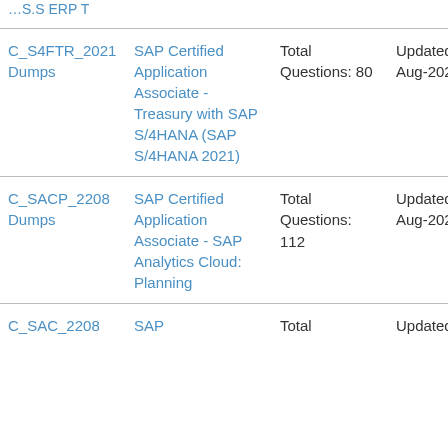| Exam Code | Exam Name | Questions | Updated | Action |
| --- | --- | --- | --- | --- |
| C_S4FTR_2021 Dumps | SAP Certified Application Associate - Treasury with SAP S/4HANA (SAP S/4HANA 2021) | Total Questions: 80 | Updated: 20-Aug-2022 | Buy Now |
| C_SACP_2208 Dumps | SAP Certified Application Associate - SAP Analytics Cloud: Planning | Total Questions: 112 | Updated: 20-Aug-2022 | Buy Now |
| C_SAC_2208 | SAP | Total | Updated: | Buy |